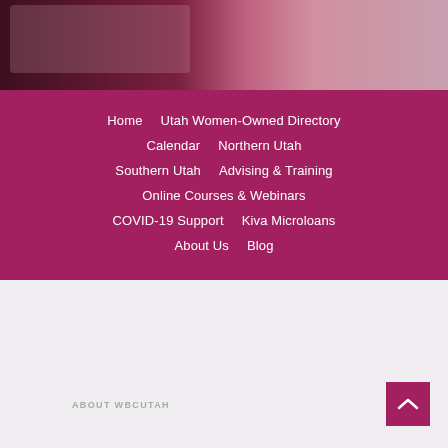[Figure (photo): Dark maroon/purple photo banner showing a desktop scene with a laptop and person wearing light pink knitwear on the right side]
Home
Utah Women-Owned Directory
Calendar
Northern Utah
Southern Utah
Advising & Training
Online Courses & Webinars
COVID-19 Support
Kiva Microloans
About Us
Blog
ABOUT WBCUTAH